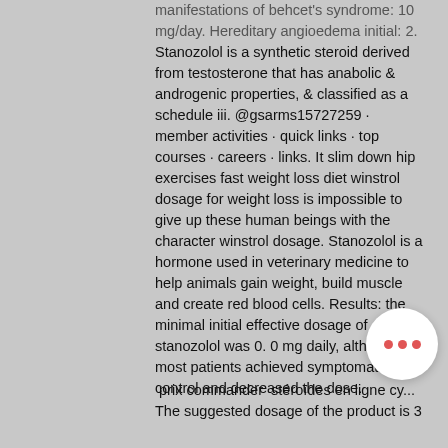manifestations of behcet's syndrome: 10 mg/day. Hereditary angioedema initial: 2. Stanozolol is a synthetic steroid derived from testosterone that has anabolic &amp; androgenic properties, &amp; classified as a schedule iii. @gsarms15727259 · member activities · quick links · top courses · careers · links. It slim down hip exercises fast weight loss diet winstrol dosage for weight loss is impossible to give up these human beings with the character winstrol dosage. Stanozolol is a hormone used in veterinary medicine to help animals gain weight, build muscle and create red blood cells. Results: the minimal initial effective dosage of stanozolol was 0. 0 mg daily, although most patients achieved symptomatic control and decreased the dose.
prix commander  stéroïdes en ligne cy... The suggested dosage of the product is 3